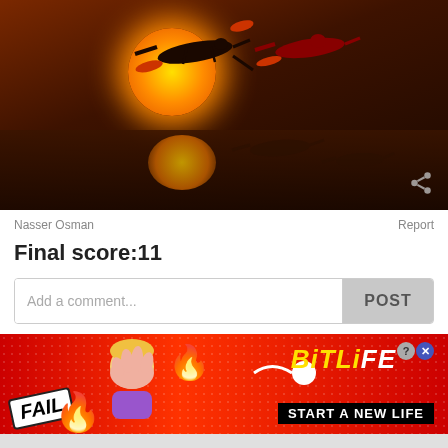[Figure (photo): Flamingos flying in front of a large orange sun at sunset, with reflection in water below]
Nasser Osman
Report
Final score:11
Add a comment...
POST
[Figure (infographic): BitLife mobile game advertisement banner with FAIL text, cartoon character facepalming, fire elements, and 'START A NEW LIFE' tagline on red background]